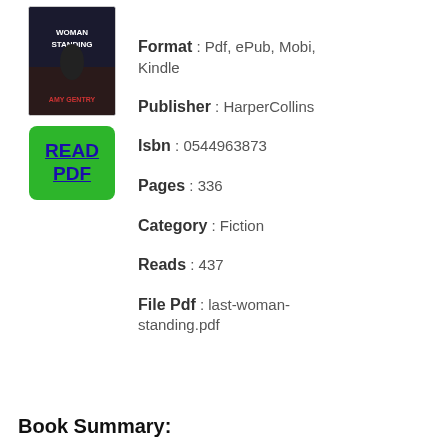[Figure (photo): Book cover of 'Last Woman Standing' by Amy Gentry — dark background with a woman figure silhouette]
[Figure (other): Green READ PDF button with blue underlined text]
Format : Pdf, ePub, Mobi, Kindle
Publisher : HarperCollins
Isbn : 0544963873
Pages : 336
Category : Fiction
Reads : 437
File Pdf : last-woman-standing.pdf
Book Summary: